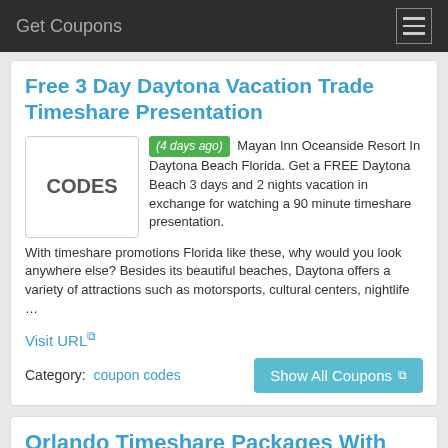Get Coupons
Free 3 Day Daytona Vacation Trade Timeshare Presentation
(4 days ago) Mayan Inn Oceanside Resort In Daytona Beach Florida. Get a FREE Daytona Beach 3 days and 2 nights vacation in exchange for watching a 90 minute timeshare presentation. With timeshare promotions Florida like these, why would you look anywhere else? Besides its beautiful beaches, Daytona offers a variety of attractions such as motorsports, cultural centers, nightlife …
Visit URL
Category:  coupon codes
Show All Coupons
Orlando Timeshare Packages With Disney Ticket ...